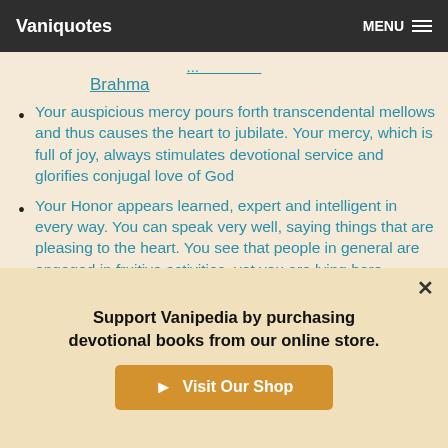Vaniquotes  MENU
Brahma
Your auspicious mercy pours forth transcendental mellows and thus causes the heart to jubilate. Your mercy, which is full of joy, always stimulates devotional service and glorifies conjugal love of God
Your Honor appears learned, expert and intelligent in every way. You can speak very well, saying things that are pleasing to the heart. You see that people in general are engaged in fruitive activities, yet you are lying here inactive
Categories: Love
Support Vanipedia by purchasing devotional books from our online store.
Visit Our Shop